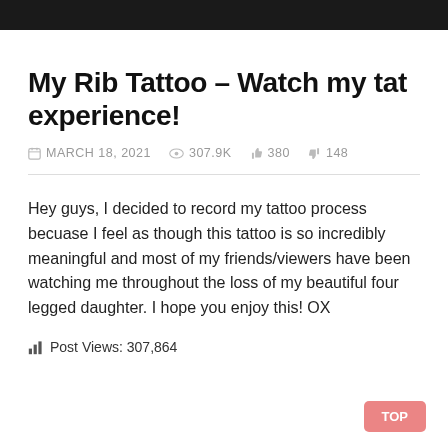My Rib Tattoo – Watch my tat experience!
MARCH 18, 2021   307.9K   380   148
Hey guys, I decided to record my tattoo process becuase I feel as though this tattoo is so incredibly meaningful and most of my friends/viewers have been watching me throughout the loss of my beautiful four legged daughter. I hope you enjoy this! OX
Post Views: 307,864